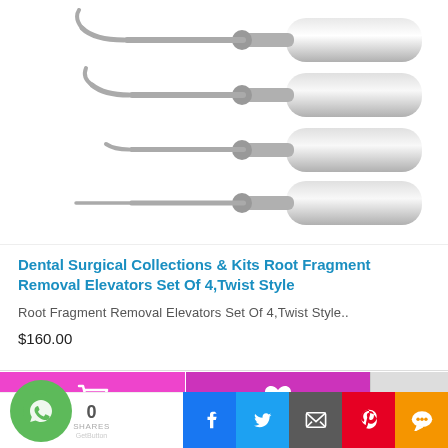[Figure (photo): Four stainless steel dental root fragment removal elevators with twist-style tips and silver handles, arranged diagonally from top to bottom]
Dental Surgical Collections & Kits Root Fragment Removal Elevators Set Of 4,Twist Style
Root Fragment Removal Elevators Set Of 4,Twist Style..
$160.00